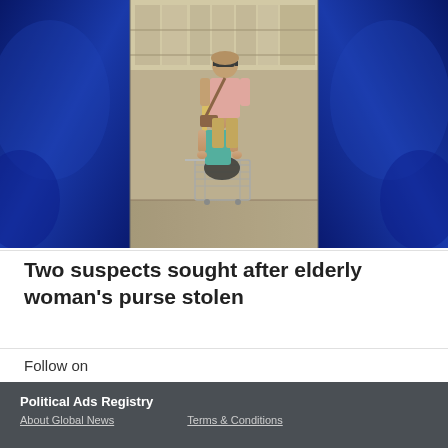[Figure (photo): CCTV security camera footage showing two suspects in a store. A tall male wearing sunglasses, pink shirt, and a crossbody bag stands behind a blonde woman in a teal top who is pushing a shopping cart. The central image is flanked by blue studio backgrounds on either side.]
Two suspects sought after elderly woman's purse stolen
Follow on
Political Ads Registry